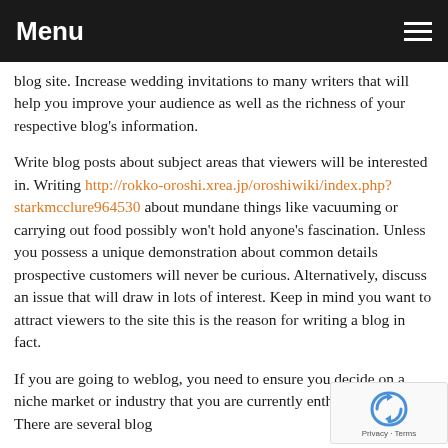Menu
blog site. Increase wedding invitations to many writers that will help you improve your audience as well as the richness of your respective blog's information.
Write blog posts about subject areas that viewers will be interested in. Writing http://rokko-oroshi.xrea.jp/oroshiwiki/index.php?starkmcclure964530 about mundane things like vacuuming or carrying out food possibly won't hold anyone's fascination. Unless you possess a unique demonstration about common details prospective customers will never be curious. Alternatively, discuss an issue that will draw in lots of interest. Keep in mind you want to attract viewers to the site this is the reason for writing a blog in fact.
If you are going to weblog, you need to ensure you decide on a niche market or industry that you are currently enthusiastic about. There are several blog